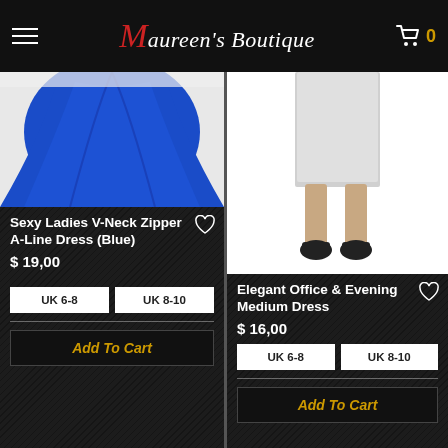Maureen's Boutique
[Figure (photo): Bottom portion of blue A-line dress with flared skirt on dark background]
Sexy Ladies V-Neck Zipper A-Line Dress (Blue)
$ 19,00
UK 6-8   UK 8-10
Add To Cart
[Figure (photo): Lower body of model wearing white/grey fitted midi dress with black shoes on white background]
Elegant Office & Evening Medium Dress
$ 16,00
UK 6-8   UK 8-10
Add To Cart